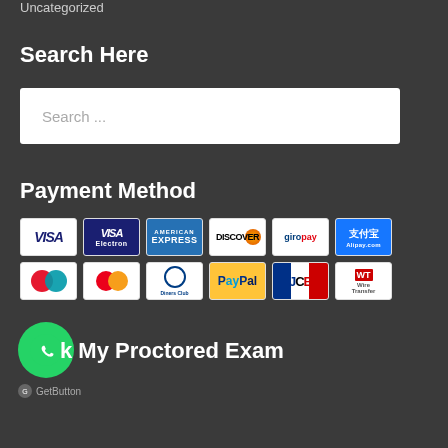Uncategorized
Search Here
Search ...
Payment Method
[Figure (infographic): Two rows of payment method icons: VISA, VISA Electron, American Express, Discover, giropay, Alipay (row 1); Maestro, MasterCard, Diners Club, PayPal, JCB, Wire Transfer (row 2)]
k My Proctored Exam
[Figure (logo): Green circular WhatsApp button icon]
GetButton